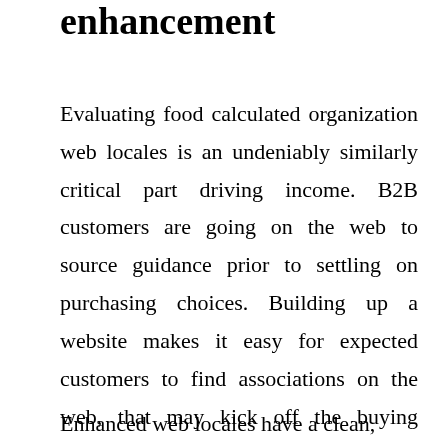enhancement
Evaluating food calculated organization web locales is an undeniably similarly critical part driving income. B2B customers are going on the web to source guidance prior to settling on purchasing choices. Building up a website makes it easy for expected customers to find associations on the web, that may kick off the buying venture.
Enhanced web locales have a clean,